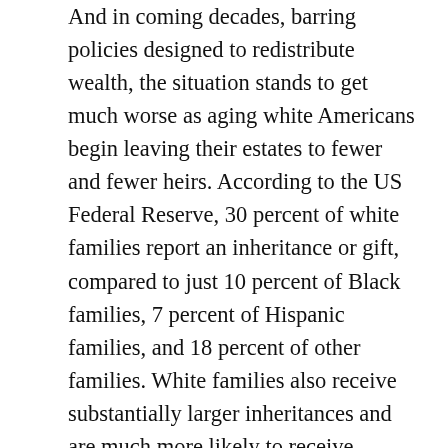And in coming decades, barring policies designed to redistribute wealth, the situation stands to get much worse as aging white Americans begin leaving their estates to fewer and fewer heirs. According to the US Federal Reserve, 30 percent of white families report an inheritance or gift, compared to just 10 percent of Black families, 7 percent of Hispanic families, and 18 percent of other families. White families also receive substantially larger inheritances and are much more likely to receive financial support from other family members in the case of an emergency. Given these trends, in a country where wealth and power go hand in hand, a more diverse society may also come with a much greater concentration of financial authority in the hands of fewer and fewer white